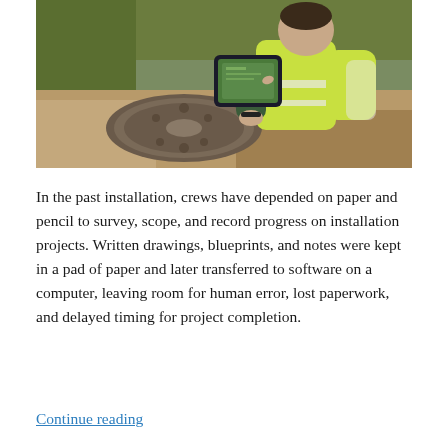[Figure (photo): A worker wearing a high-visibility yellow vest crouches outdoors over a round metal utility cover, using a rugged tablet device to record or view data at a field installation site.]
In the past installation, crews have depended on paper and pencil to survey, scope, and record progress on installation projects. Written drawings, blueprints, and notes were kept in a pad of paper and later transferred to software on a computer, leaving room for human error, lost paperwork, and delayed timing for project completion.
Continue reading